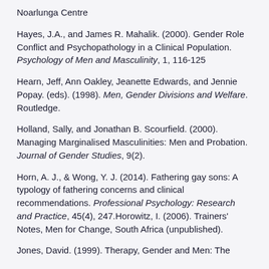Noarlunga Centre
Hayes, J.A., and James R. Mahalik. (2000). Gender Role Conflict and Psychopathology in a Clinical Population. Psychology of Men and Masculinity, 1, 116-125
Hearn, Jeff, Ann Oakley, Jeanette Edwards, and Jennie Popay. (eds). (1998). Men, Gender Divisions and Welfare. Routledge.
Holland, Sally, and Jonathan B. Scourfield. (2000). Managing Marginalised Masculinities: Men and Probation. Journal of Gender Studies, 9(2).
Horn, A. J., & Wong, Y. J. (2014). Fathering gay sons: A typology of fathering concerns and clinical recommendations. Professional Psychology: Research and Practice, 45(4), 247.Horowitz, I. (2006). Trainers' Notes, Men for Change, South Africa (unpublished).
Jones, David. (1999). Therapy, Gender and Men: The